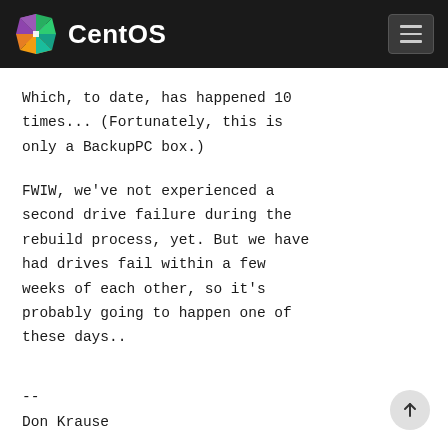CentOS
Which, to date, has happened 10 times... (Fortunately, this is only a BackupPC box.)
FWIW, we've not experienced a second drive failure during the rebuild process, yet. But we have had drives fail within a few weeks of each other, so it's probably going to happen one of these days..
--
Don Krause